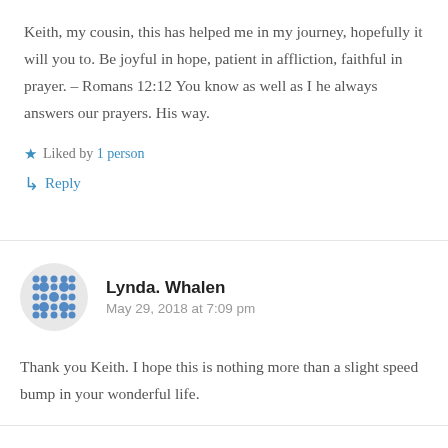Keith, my cousin, this has helped me in my journey, hopefully it will you to. Be joyful in hope, patient in affliction, faithful in prayer. – Romans 12:12 You know as well as I he always answers our prayers. His way.
Liked by 1 person
Reply
Lynda. Whalen
May 29, 2018 at 7:09 pm
Thank you Keith. I hope this is nothing more than a slight speed bump in your wonderful life.